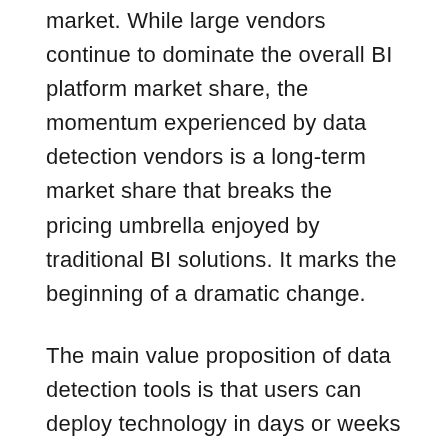market. While large vendors continue to dominate the overall BI platform market share, the momentum experienced by data detection vendors is a long-term market share that breaks the pricing umbrella enjoyed by traditional BI solutions. It marks the beginning of a dramatic change.
The main value proposition of data detection tools is that users can deploy technology in days or weeks without relying on IT, as opposed to the up to 18 months of traditional BI tools. This faster path to user productivity is a key differentiator in reducing TCO using current real-time data rather than old and inflexible datasets.